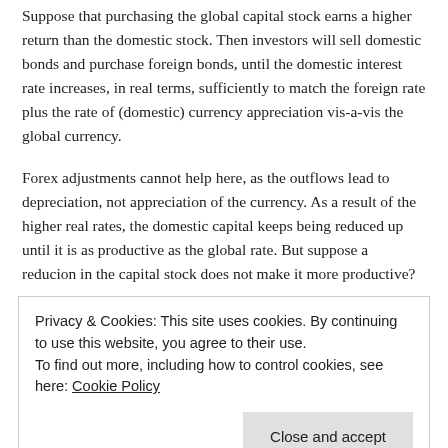Suppose that purchasing the global capital stock earns a higher return than the domestic stock.  Then investors will sell domestic bonds and purchase foreign bonds, until the domestic interest rate increases, in real terms, sufficiently to match the foreign rate plus the rate of (domestic) currency appreciation vis-a-vis the global currency.
Forex adjustments cannot help here, as the outflows lead to depreciation, not appreciation of the currency.  As a result of the higher real rates, the domestic capital keeps being reduced up until it is as productive as the global rate. But suppose a reducion in the capital stock does not make it more productive?
Continue reading →
Privacy & Cookies: This site uses cookies. By continuing to use this website, you agree to their use.
To find out more, including how to control cookies, see here: Cookie Policy
Close and accept
LEAVING (MODERN) MONEY